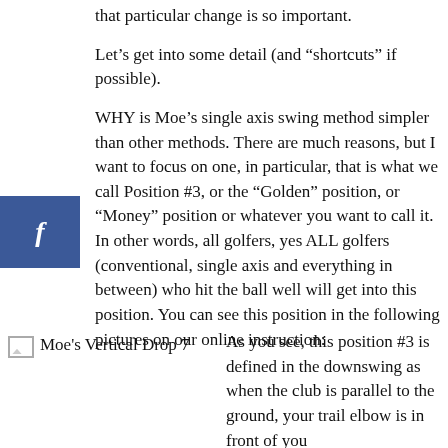that particular change is so important.
Let’s get into some detail (and “shortcuts” if possible).
WHY is Moe’s single axis swing method simpler than other methods. There are much reasons, but I want to focus on one, in particular, that is what we call Position #3, or the “Golden” position, or “Money” position or whatever you want to call it. In other words, all golfers, yes ALL golfers (conventional, single axis and everything in between) who hit the ball well will get into this position. You can see this position in the following pictures on our online instruction:
[Figure (other): Moe's Vertical Drop 7 - image placeholder with broken image icon]
As you see, this position #3 is defined in the downswing as when the club is parallel to the ground, your trail elbow is in front of you